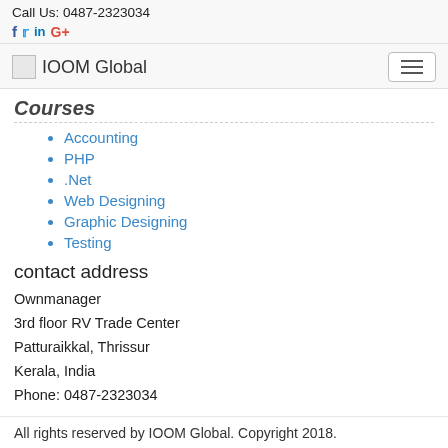Call Us: 0487-2323034
f  in G+
IOOM Global
Courses
Accounting
PHP
.Net
Web Designing
Graphic Designing
Testing
contact address
Ownmanager
3rd floor RV Trade Center
Patturaikkal, Thrissur
Kerala, India
Phone: 0487-2323034
All rights reserved by IOOM Global. Copyright 2018.